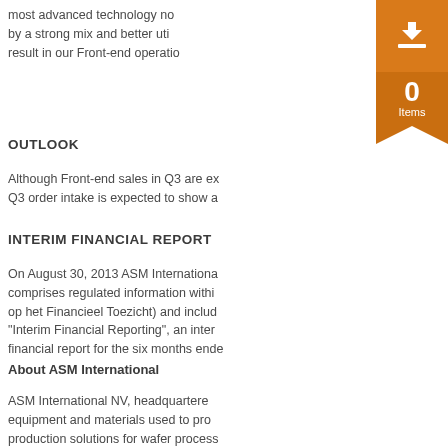most advanced technology no... by a strong mix and better uti... result in our Front-end operatio...
OUTLOOK
Although Front-end sales in Q3 are ex... Q3 order intake is expected to show a...
INTERIM FINANCIAL REPORT
On August 30, 2013 ASM Internationa... comprises regulated information withi... op het Financieel Toezicht) and includ... "Interim Financial Reporting", an inter... financial report for the six months ende...
About ASM International
ASM International NV, headquartere... equipment and materials used to pro... production solutions for wafer process... (Back-end segment) through facilities... NASDAQ (symbol ASMI) and the Euro... www.asm.com.